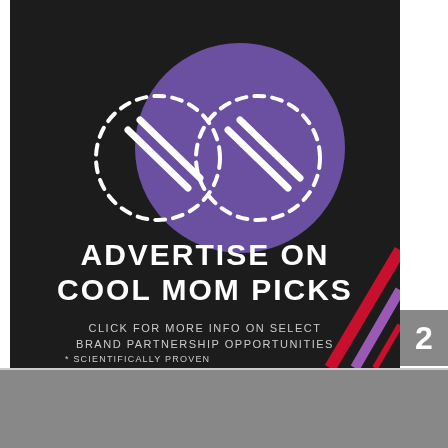[Figure (infographic): Dark background advertisement for Cool Mom Picks. Shows infinity/glasses icon with dotted dashed circles over a purple circle. Text reads ADVERTISE ON COOL MOM PICKS, CLICK FOR MORE INFO ON SELECT BRAND PARTNERSHIP OPPORTUNITIES, * SCIENTIFICALLY PROVEN. Diagonal pink and purple stripes in bottom right corner. Number 2 badge on right side.]
Advertise with us
Share This